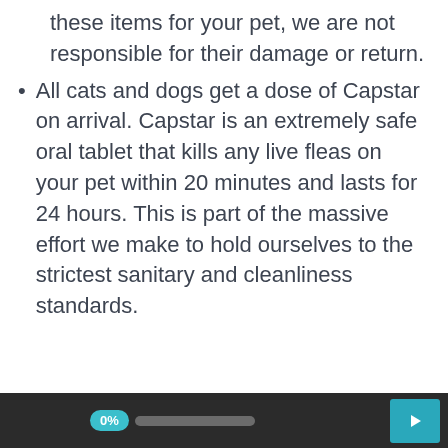these items for your pet, we are not responsible for their damage or return.
All cats and dogs get a dose of Capstar on arrival. Capstar is an extremely safe oral tablet that kills any live fleas on your pet within 20 minutes and lasts for 24 hours. This is part of the massive effort we make to hold ourselves to the strictest sanitary and cleanliness standards.
0%